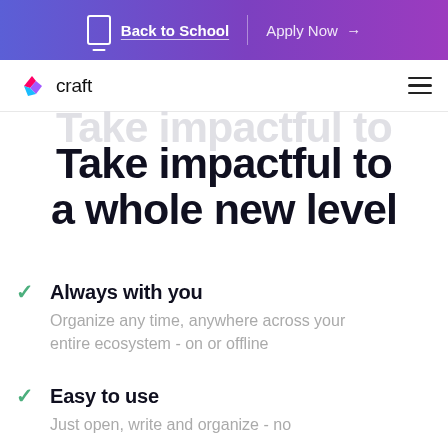Back to School | Apply Now →
[Figure (logo): Craft app logo with colorful diamond icon and 'craft' wordmark]
Take impactful to a whole new level
Always with you — Organize any time, anywhere across your entire ecosystem - on or offline
Easy to use — Just open, write and organize - no